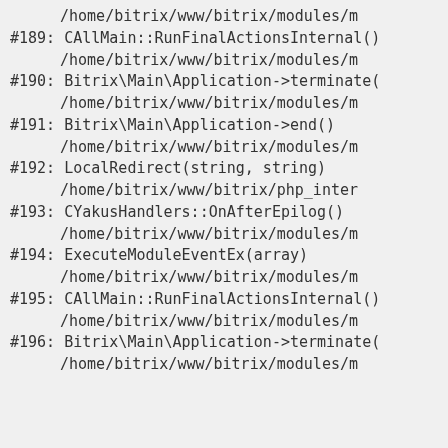/home/bitrix/www/bitrix/modules/m
#189: CAllMain::RunFinalActionsInternal()
/home/bitrix/www/bitrix/modules/m
#190: Bitrix\Main\Application->terminate(
/home/bitrix/www/bitrix/modules/m
#191: Bitrix\Main\Application->end()
/home/bitrix/www/bitrix/modules/m
#192: LocalRedirect(string, string)
/home/bitrix/www/bitrix/php_inter
#193: CYakusHandlers::OnAfterEpilog()
/home/bitrix/www/bitrix/modules/m
#194: ExecuteModuleEventEx(array)
/home/bitrix/www/bitrix/modules/m
#195: CAllMain::RunFinalActionsInternal()
/home/bitrix/www/bitrix/modules/m
#196: Bitrix\Main\Application->terminate(
/home/bitrix/www/bitrix/modules/m